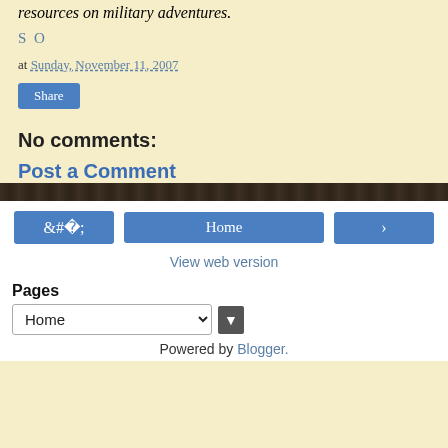resources on military adventures.
S O
at Sunday, November 11, 2007
Share
No comments:
Post a Comment
Home
View web version
Pages
Home
Powered by Blogger.